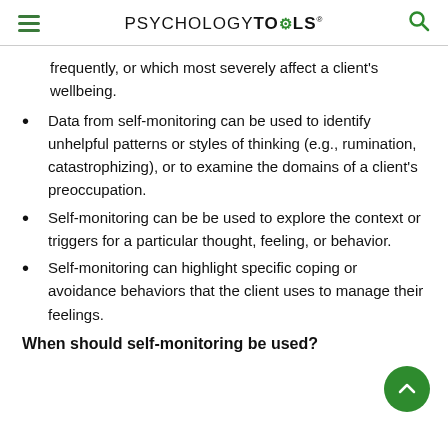PSYCHOLOGYTOOLS
frequently, or which most severely affect a client’s wellbeing.
Data from self-monitoring can be used to identify unhelpful patterns or styles of thinking (e.g., rumination, catastrophizing), or to examine the domains of a client’s preoccupation.
Self-monitoring can be be used to explore the context or triggers for a particular thought, feeling, or behavior.
Self-monitoring can highlight specific coping or avoidance behaviors that the client uses to manage their feelings.
When should self-monitoring be used?